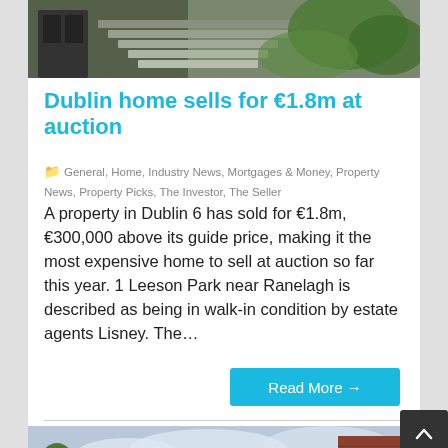[Figure (photo): Top portion of a stone building with steps and greenery, partially cropped at top of page]
Dublin home sells for €1.8m at auction
General, Home, Industry News, Mortgages & Money, Property News, Property Picks, The Investor, The Seller
A property in Dublin 6 has sold for €1.8m, €300,000 above its guide price, making it the most expensive home to sell at auction so far this year. 1 Leeson Park near Ranelagh is described as being in walk-in condition by estate agents Lisney. The…
Read More →
[Figure (photo): Street view of a Georgian-style building with white facade and red brick, partially cropped at bottom of page]